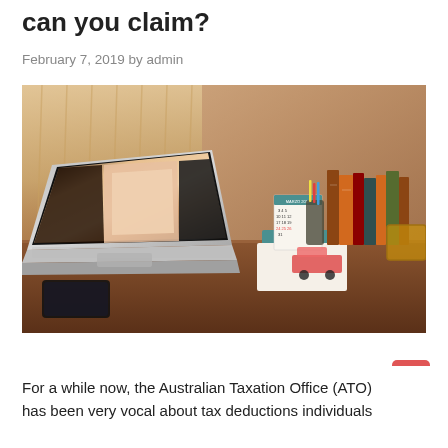can you claim?
February 7, 2019 by admin
[Figure (photo): A home office desk with an open MacBook laptop displaying photo editing software, a calendar, books, stationery, a camera, and a smartphone on the desk surface. Warm ambient lighting from curtained window in background.]
For a while now, the Australian Taxation Office (ATO) has been very vocal about tax deductions individuals